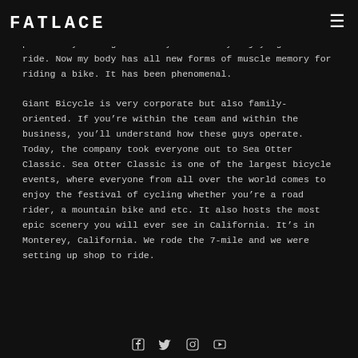FATLACE
pounds. by eating correctly and really enjoying the ride. Now my body has all new forms of muscle memory for riding a bike. It has been phenomenal.
Giant Bicycle is very corporate but also family-oriented. If you're within the team and within the business, you'll understand how these guys operate. Today, the company took everyone out to Sea Otter Classic. Sea Otter Classic is one of the largest bicycle events, where everyone from all over the world comes to enjoy the festival of cycling whether you're a road rider, a mountain bike and etc. It also hosts the most epic scenery you will ever see in California. It's in Monterey, California. We rode the 7-mile and we were setting up shop to ride.
social icons: facebook, twitter, instagram, youtube